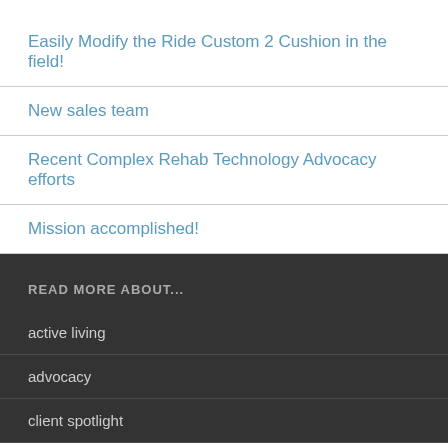Easily Modify the Ride Custom 2 Cushion in the field!
New sales team
Recent Complex Rehab Technology Advocacy efforts
Mission accomplished!
READ MORE ABOUT...
active living
advocacy
client spotlight